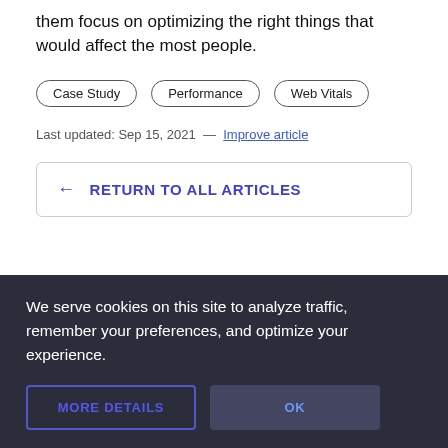them focus on optimizing the right things that would affect the most people.
Case Study
Performance
Web Vitals
Last updated: Sep 15, 2021 — Improve article
← RETURN TO ALL ARTICLES
We serve cookies on this site to analyze traffic, remember your preferences, and optimize your experience.
MORE DETAILS
OK